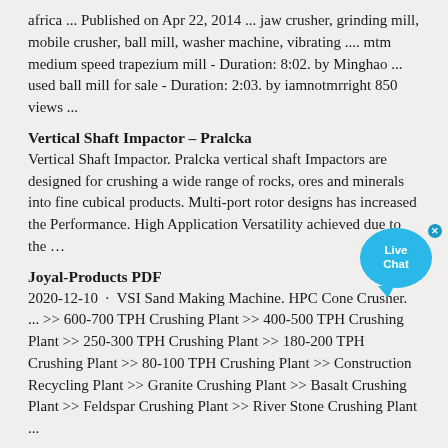africa ... Published on Apr 22, 2014 ... jaw crusher, grinding mill, mobile crusher, ball mill, washer machine, vibrating .... mtm medium speed trapezium mill - Duration: 8:02. by Minghao ... used ball mill for sale - Duration: 2:03. by iamnotmrright 850 views ...
Vertical Shaft Impactor – Pralcka
Vertical Shaft Impactor. Pralcka vertical shaft Impactors are designed for crushing a wide range of rocks, ores and minerals into fine cubical products. Multi-port rotor designs has increased the Performance. High Application Versatility achieved due to the …
Joyal-Products PDF
2020-12-10 · VSI Sand Making Machine. HPC Cone Crusher. ... >> 600-700 TPH Crushing Plant >> 400-500 TPH Crushing Plant >> 250-300 TPH Crushing Plant >> 180-200 TPH Crushing Plant >> 80-100 TPH Crushing Plant >> Construction Recycling Plant >> Granite Crushing Plant >> Basalt Crushing Plant >> Feldspar Crushing Plant >> River Stone Crushing Plant ...
Hard Stone Crusher 20 Tons Per Hour
2021-8-24 · Tons Per Hour Stone Crusher. Tons Per Hour Stone Crusher. 350 tons per hour portable crushing line supplier,mobile gravel crushers 100 ton per hour - stone crushing machine, with capacities from 3,000 to 10,000 tons
[Figure (other): Live Chat bubble widget — a cyan/blue circular bubble with 'Live Chat' text in white and a close (x) button]